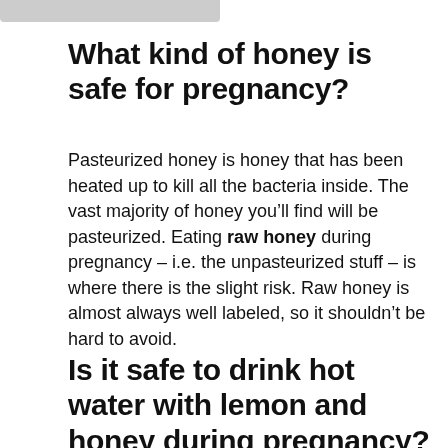What kind of honey is safe for pregnancy?
Pasteurized honey is honey that has been heated up to kill all the bacteria inside. The vast majority of honey you’ll find will be pasteurized. Eating raw honey during pregnancy – i.e. the unpasteurized stuff – is where there is the slight risk. Raw honey is almost always well labeled, so it shouldn’t be hard to avoid.
Is it safe to drink hot water with lemon and honey during pregnancy?